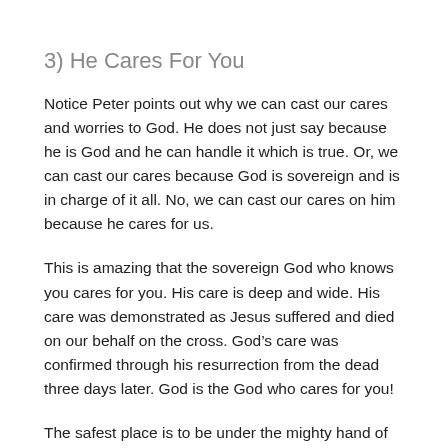3) He Cares For You
Notice Peter points out why we can cast our cares and worries to God. He does not just say because he is God and he can handle it which is true. Or, we can cast our cares because God is sovereign and is in charge of it all. No, we can cast our cares on him because he cares for us.
This is amazing that the sovereign God who knows you cares for you. His care is deep and wide. His care was demonstrated as Jesus suffered and died on our behalf on the cross. God’s care was confirmed through his resurrection from the dead three days later. God is the God who cares for you!
The safest place is to be under the mighty hand of God!